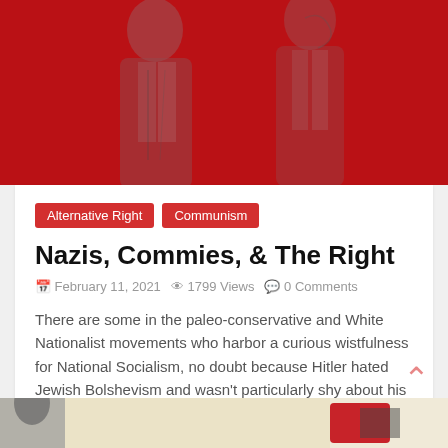[Figure (photo): Red-tinted header image with two figures in suits against a red background]
Alternative Right   Communism
Nazis, Commies, & The Right
February 11, 2021  1799 Views  0 Comments
There are some in the paleo-conservative and White Nationalist movements who harbor a curious wistfulness for National Socialism, no doubt because Hitler hated Jewish Bolshevism and wasn't particularly shy about his dislikes.
Read more
[Figure (photo): Partial image at bottom of page, cropped article preview]